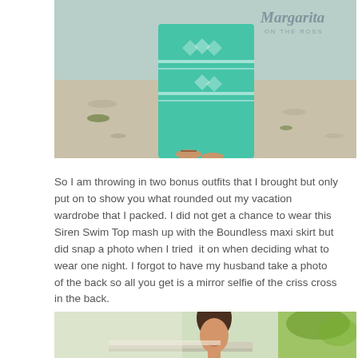[Figure (photo): Photo of a person wearing a teal/mint patterned maxi skirt standing on a sandy beach, with a watermark logo reading 'Margarita ON THE ROSS' in the upper right corner]
So I am throwing in two bonus outfits that I brought but only put on to show you what rounded out my vacation wardrobe that I packed. I did not get a chance to wear this Siren Swim Top mash up with the Boundless maxi skirt but did snap a photo when I tried  it on when deciding what to wear one night. I forgot to have my husband take a photo of the back so all you get is a mirror selfie of the criss cross in the back.
[Figure (photo): Bottom portion of a photo showing a woman with dark hair smiling, with green foliage visible in the background]